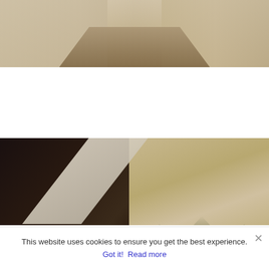[Figure (photo): Interior architectural photo showing a long narrow hallway/corridor with wooden flooring, white walls on the left and textured concrete/stone wall on the right, receding into the distance with natural light from the far end]
[Figure (photo): Interior architectural photo showing bold geometric concrete and dark walls with dramatic angular shapes, a diagonal white beam or wall element, warm light from a door opening below, and a large spiky plant in the lower right corner]
This website uses cookies to ensure you get the best experience.
Got it!  Read more